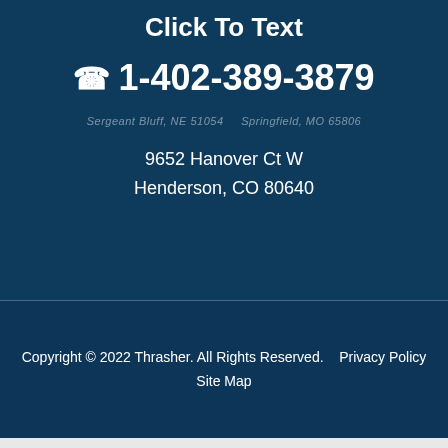Click To Text
1-402-389-3879
Sergeant Bluff, NE 51054  Springfield, MO 65806
9652 Hanover Ct W
Henderson, CO 80640
Copyright © 2022 Thrasher. All Rights Reserved.   Privacy Policy   Site Map